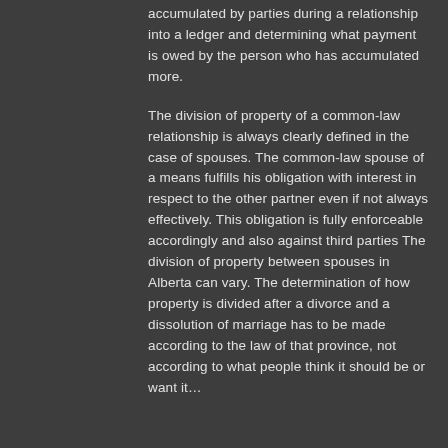accumulated by parties during a relationship into a ledger and determining what payment is owed by the person who has accumulated more.
The division of property of a common-law relationship is always clearly defined in the case of spouses. The common-law spouse of a means fulfills his obligation with interest in respect to the other partner even if not always effectively. This obligation is fully enforceable accordingly and also against third parties
The division of property between spouses in Alberta can vary. The determination of how property is divided after a divorce and a dissolution of marriage has to be made according to the law of that province, not according to what people think it should be or want it…